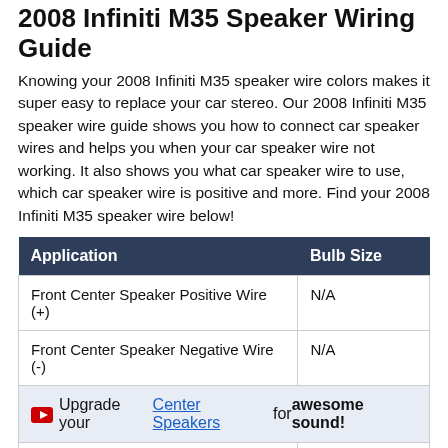2008 Infiniti M35 Speaker Wiring Guide
Knowing your 2008 Infiniti M35 speaker wire colors makes it super easy to replace your car stereo. Our 2008 Infiniti M35 speaker wire guide shows you how to connect car speaker wires and helps you when your car speaker wire not working. It also shows you what car speaker wire to use, which car speaker wire is positive and more. Find your 2008 Infiniti M35 speaker wire below!
| Application | Bulb Size |
| --- | --- |
| Front Center Speaker Positive Wire (+) | N/A |
| Front Center Speaker Negative Wire (-) | N/A |
| ▶ Upgrade your Center Speakers for awesome sound! |  |
| Left Front Tweeter Positive Wire (+) | N/A |
| Left Front Tweeter Negative Wire (-) | N/A |